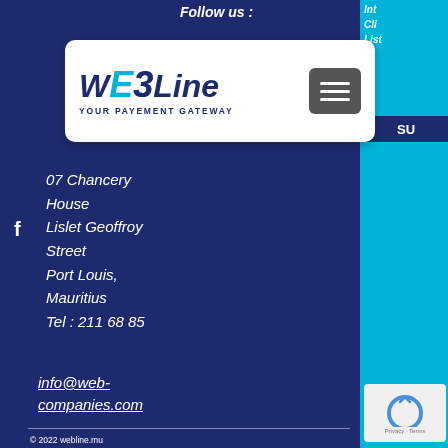Follow us :
[Figure (logo): WEBLine - YOUR PAYEMENT GATEWAY logo with hamburger menu button]
Int
Cli
List
SUB
07 Chancery House
Lislet Geoffroy Street
Port Louis, Mauritius
Tel : 211 68 85
info@web-companies.com
© 2022 webline.mu
Terms & Conditions  Privacy Policy  Return Policy
Termes & Conditions  Politique de Confidentialité
Politique de Retour
Powered by WEB Companies: Digital Agency ( Web design, Web development, SEO, Social Media Marketing & Payment Gateway)